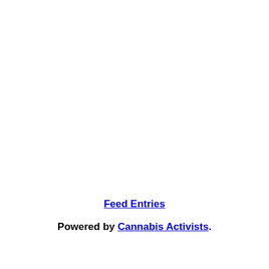Feed Entries
Powered by Cannabis Activists.